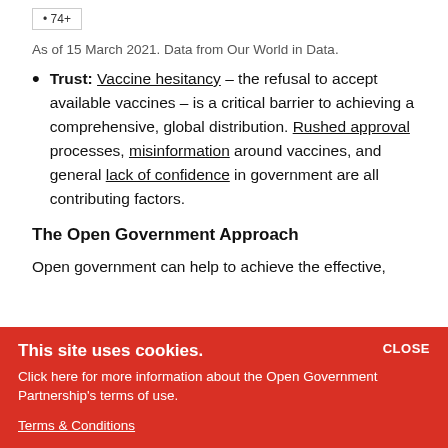[Figure (other): Partial legend box showing '74+' bullet item from a chart above]
As of 15 March 2021. Data from Our World in Data.
Trust: Vaccine hesitancy – the refusal to accept available vaccines – is a critical barrier to achieving a comprehensive, global distribution. Rushed approval processes, misinformation around vaccines, and general lack of confidence in government are all contributing factors.
The Open Government Approach
Open government can help to achieve the effective,
This site uses cookies. Click here for more information about the Open Government Partnership's terms of use. Terms & Conditions CLOSE